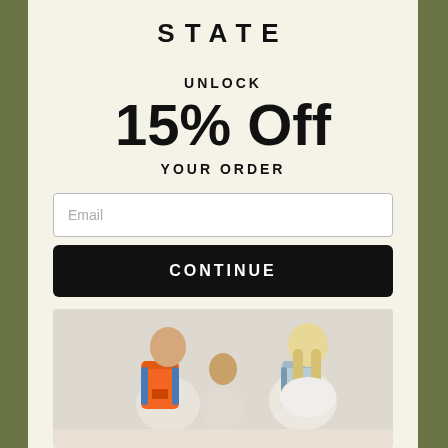STATE
UNLOCK
15% Off
YOUR ORDER
Email
CONTINUE
[Figure (photo): Three children from behind wearing backpacks — an orange backpack on the left child, and a light blue/grey backpack on the right child, standing against a white textured wall]